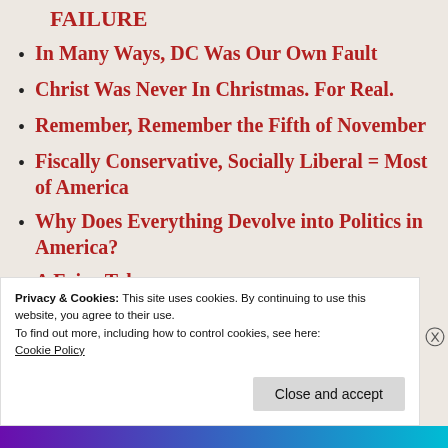FAILURE
In Many Ways, DC Was Our Own Fault
Christ Was Never In Christmas. For Real.
Remember, Remember the Fifth of November
Fiscally Conservative, Socially Liberal = Most of America
Why Does Everything Devolve into Politics in America?
A Fairy Tale
How Dangerous is Bipolar Disorder?
Privacy & Cookies: This site uses cookies. By continuing to use this website, you agree to their use.
To find out more, including how to control cookies, see here:
Cookie Policy
Close and accept